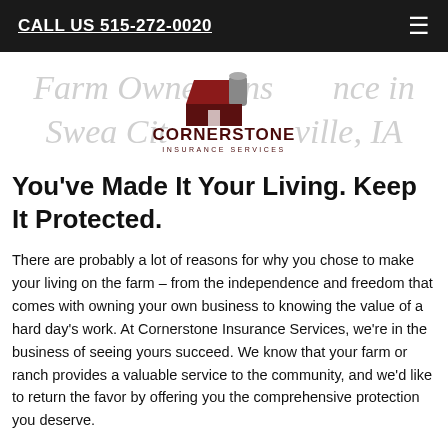CALL US 515-272-0020
[Figure (logo): Cornerstone Insurance Services logo with barn/house illustration and company name text overlaid on faded watermark background text: 'Farm Owners Insurance in Swea City & Estherville, IA']
You've Made It Your Living. Keep It Protected.
There are probably a lot of reasons for why you chose to make your living on the farm – from the independence and freedom that comes with owning your own business to knowing the value of a hard day's work. At Cornerstone Insurance Services, we're in the business of seeing yours succeed. We know that your farm or ranch provides a valuable service to the community, and we'd like to return the favor by offering you the comprehensive protection you deserve.
Farm Owners policy from Cornerstone Insurance Services is an all-inclusive and customizable insurance solution to secure your land, your property, and your